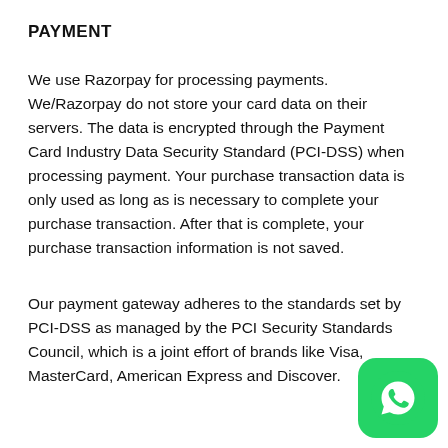PAYMENT
We use Razorpay for processing payments. We/Razorpay do not store your card data on their servers. The data is encrypted through the Payment Card Industry Data Security Standard (PCI-DSS) when processing payment. Your purchase transaction data is only used as long as is necessary to complete your purchase transaction. After that is complete, your purchase transaction information is not saved.
Our payment gateway adheres to the standards set by PCI-DSS as managed by the PCI Security Standards Council, which is a joint effort of brands like Visa, MasterCard, American Express and Discover.
[Figure (logo): WhatsApp logo icon — green rounded square with white phone handset]